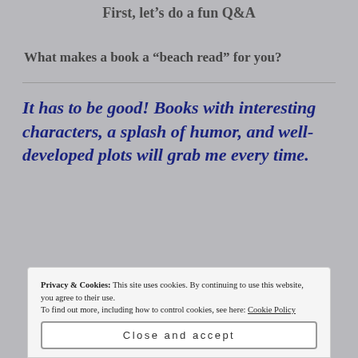First, let's do a fun Q&A
What makes a book a “beach read” for you?
It has to be good! Books with interesting characters, a splash of humor, and well-developed plots will grab me every time.
Privacy & Cookies: This site uses cookies. By continuing to use this website, you agree to their use. To find out more, including how to control cookies, see here: Cookie Policy
Close and accept